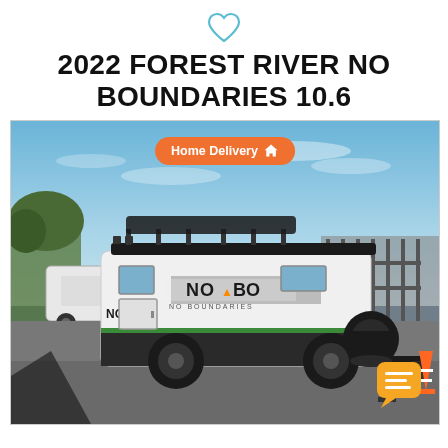[Figure (other): Heart icon (outline) in blue/cyan color centered at top]
2022 FOREST RIVER NO BOUNDARIES 10.6
[Figure (photo): Photo of a 2022 Forest River No Boundaries 10.6 travel trailer/camper (NoBo) parked in a dealership lot. The white camper has NO BO branding on the side, a black roof rack with gear, black offroad tires, and a hitch. Other campers and a metal gate fence are visible in the background. Blue sky with trees. A shadow of a person is visible in the foreground. An orange 'Home Delivery' badge with house icon overlays the top center of the photo. A yellow/orange chat bubble icon appears bottom right.]